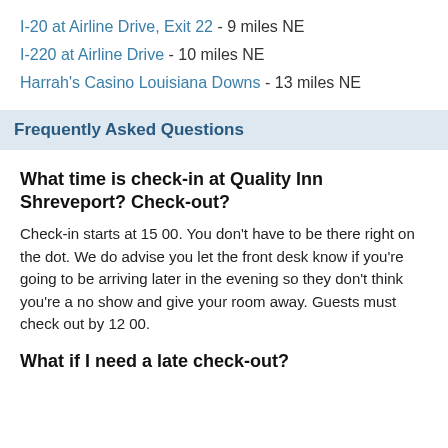I-20 at Airline Drive, Exit 22 - 9 miles NE
I-220 at Airline Drive - 10 miles NE
Harrah's Casino Louisiana Downs - 13 miles NE
Frequently Asked Questions
What time is check-in at Quality Inn Shreveport? Check-out?
Check-in starts at 15 00. You don't have to be there right on the dot. We do advise you let the front desk know if you're going to be arriving later in the evening so they don't think you're a no show and give your room away. Guests must check out by 12 00.
What if I need a late check-out?